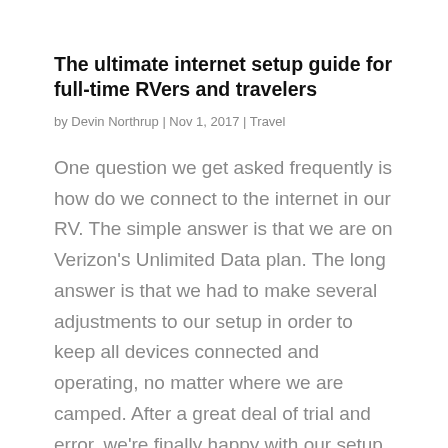The ultimate internet setup guide for full-time RVers and travelers
by Devin Northrup | Nov 1, 2017 | Travel
One question we get asked frequently is how do we connect to the internet in our RV. The simple answer is that we are on Verizon's Unlimited Data plan. The long answer is that we had to make several adjustments to our setup in order to keep all devices connected and operating, no matter where we are camped. After a great deal of trial and error, we're finally happy with our setup and we're ready to share it with the four people who read